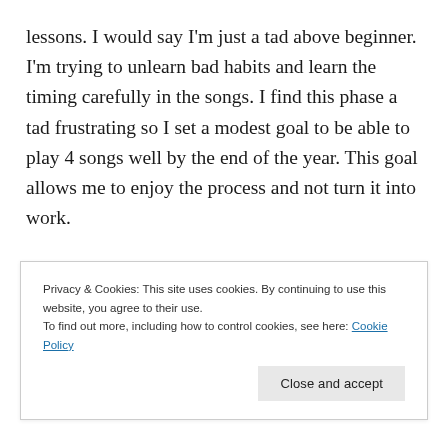lessons. I would say I'm just a tad above beginner. I'm trying to unlearn bad habits and learn the timing carefully in the songs. I find this phase a tad frustrating so I set a modest goal to be able to play 4 songs well by the end of the year. This goal allows me to enjoy the process and not turn it into work.
Since I started skiing so young and grew up on a
Privacy & Cookies: This site uses cookies. By continuing to use this website, you agree to their use.
To find out more, including how to control cookies, see here: Cookie Policy